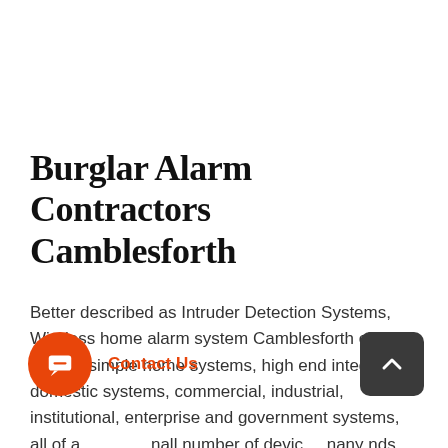Burglar Alarm Contractors Camblesforth
Better described as Intruder Detection Systems, Wireless home alarm system Camblesforth clients include simple home systems, high end integrated domestic systems, commercial, industrial, institutional, enterprise and government systems, all of [which can accommodate] a small number of devices to many [hundreds of thousands of] ends, all subject to need, level of risk, and cost. At Wireless home alarm system Camblesforth, we